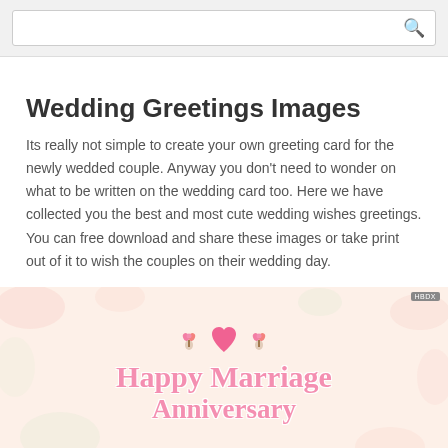[search bar]
Wedding Greetings Images
Its really not simple to create your own greeting card for the newly wedded couple. Anyway you don't need to wonder on what to be written on the wedding card too. Here we have collected you the best and most cute wedding wishes greetings. You can free download and share these images or take print out of it to wish the couples on their wedding day.
[Figure (illustration): A wedding anniversary greeting card with a pink heart, rose decorations, and text reading 'Happy Marriage Anniversary' in pink script on a light peach floral background. An HBDX badge appears in the top right corner.]